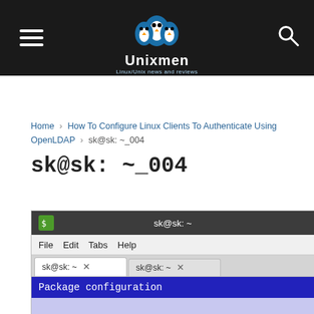Unixmen — Linux/Unix news and reviews
Home › How To Configure Linux Clients To Authenticate Using OpenLDAP › sk@sk: ~_004
sk@sk: ~_004
[Figure (screenshot): Terminal window screenshot showing two tabs labeled 'sk@sk: ~', a menu bar with File Edit Tabs Help, and a terminal content area with a blue 'Package configuration' header bar and a light purple content area below.]